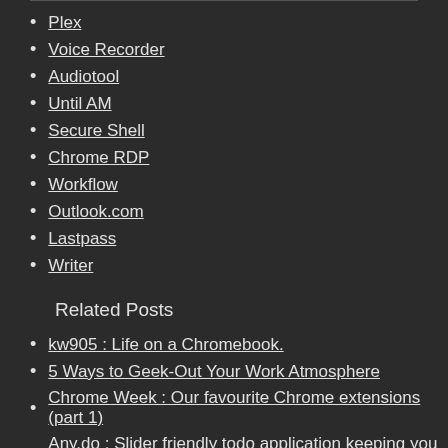Plex
Voice Recorder
Audiotool
Until AM
Secure Shell
Chrome RDP
Workflow
Outlook.com
Lastpass
Writer
Related Posts
kw905 : Life on a Chromebook.
5 Ways to Geek-Out Your Work Atmosphere
Chrome Week : Our favourite Chrome extensions (part 1)
Any.do : Slider friendly todo application keeping you on